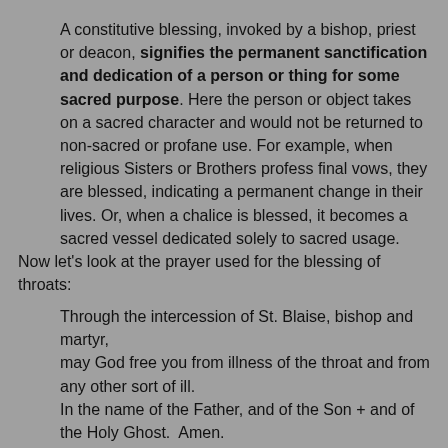A constitutive blessing, invoked by a bishop, priest or deacon, signifies the permanent sanctification and dedication of a person or thing for some sacred purpose. Here the person or object takes on a sacred character and would not be returned to non-sacred or profane use. For example, when religious Sisters or Brothers profess final vows, they are blessed, indicating a permanent change in their lives. Or, when a chalice is blessed, it becomes a sacred vessel dedicated solely to sacred usage.
Now let's look at the prayer used for the blessing of throats:
Through the intercession of St. Blaise, bishop and martyr,
may God free you from illness of the throat and from any other sort of ill.
In the name of the Father, and of the Son + and of the Holy Ghost.  Amen.